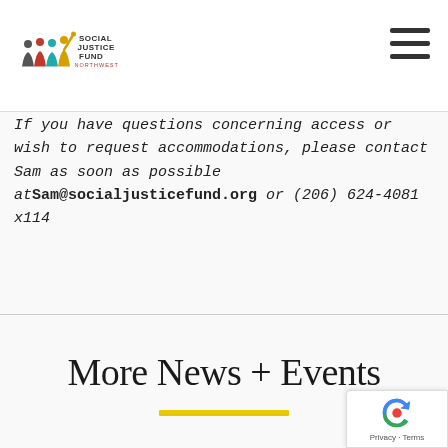[Figure (logo): Social Justice Fund Northwest logo with silhouetted figures in gray, red, teal, and yellow colors, with handwritten-style text]
If you have questions concerning access or wish to request accommodations, please contact Sam as soon as possible at Sam@socialjusticefund.org or (206) 624-4081 x114
More News + Events